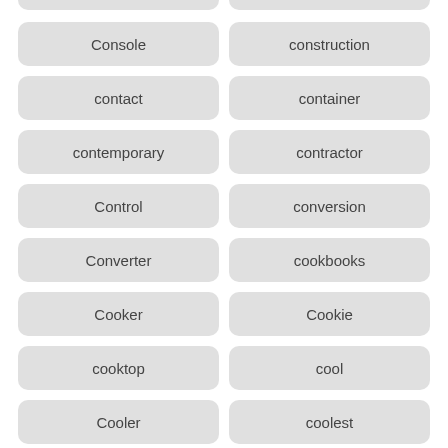Console
construction
contact
container
contemporary
contractor
Control
conversion
Converter
cookbooks
Cooker
Cookie
cooktop
cool
Cooler
coolest
coolhouse
coolhousecom